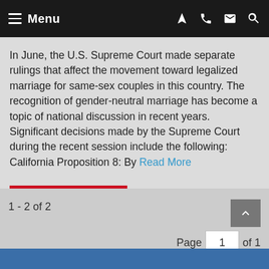Menu
In June, the U.S. Supreme Court made separate rulings that affect the movement toward legalized marriage for same-sex couples in this country. The recognition of gender-neutral marriage has become a topic of national discussion in recent years. Significant decisions made by the Supreme Court during the recent session include the following: California Proposition 8: By Read More
READ MORE
1 - 2 of 2   Page 1 of 1